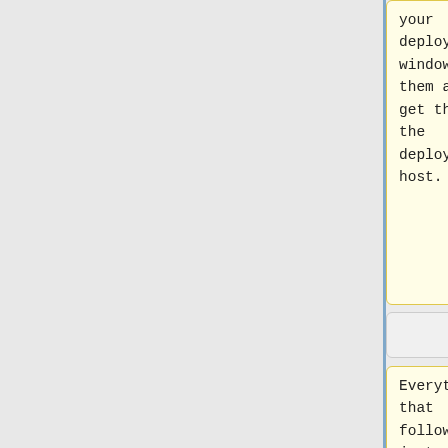your deployment window +2 them and get them on the deployment host.
your deployment window (often [[Backport windows|during backport windows]]) +2 them and get them on the deployment host.
Everything that follows is just a convenient way to make
Everything that follows is just a convenient way to make